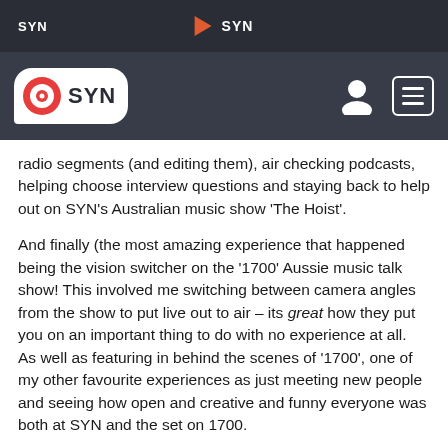SYN | ▶ SYN
[Figure (logo): SYN radio logo — red circle target icon with speech bubble shape, white background, dark header bar with user icon and menu icon]
radio segments (and editing them), air checking podcasts, helping choose interview questions and staying back to help out on SYN's Australian music show 'The Hoist'.
And finally (the most amazing experience that happened being the vision switcher on the '1700' Aussie music talk show! This involved me switching between camera angles from the show to put live out to air – its great how they put you on an important thing to do with no experience at all.  As well as featuring in behind the scenes of '1700', one of my other favourite experiences as just meeting new people and seeing how open and creative and funny everyone was both at SYN and the set on 1700.
I know that this experience has lightened the way to